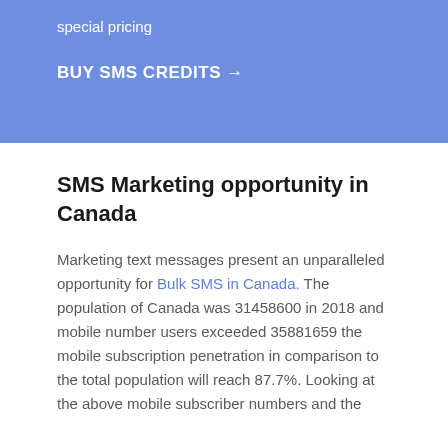special pricing
BUY SMS CREDITS →
SMS Marketing opportunity in Canada
Marketing text messages present an unparalleled opportunity for Bulk SMS in Canada. The population of Canada was 31458600 in 2018 and mobile number users exceeded 35881659 the mobile subscription penetration in comparison to the total population will reach 87.7%. Looking at the above mobile subscriber numbers and the